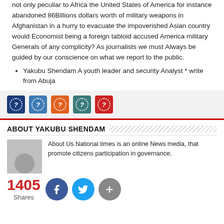not only peculiar to Africa the United States of America for instance abandoned 86Billions dollars worth of military weapons in Afghanistan in a hurry to evacuate the impoverished Asian country would Economist being a foreign tabloid accused America military Generals of any complicity? As journalists we must Always be guided by our conscience on what we report to the public.
Yakubu Shendam A youth leader and security Analyst * write from Abuja
[Figure (other): Social sharing icon buttons: dark blue, mid blue, orange, teal, red — each with a circular question mark icon inside]
ABOUT YAKUBU SHENDAM
[Figure (photo): Gray placeholder avatar image with a circular silhouette at the bottom]
About Us National times is an online News media, that promote citizens participation in governance,
1405 Shares